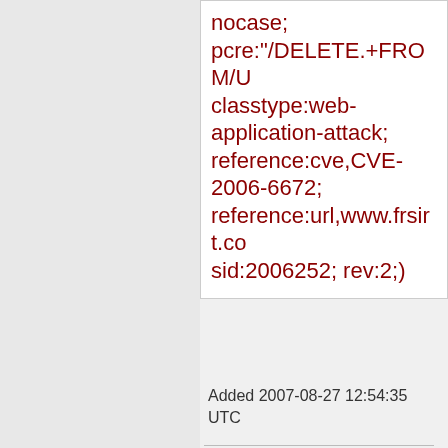nocase; pcre:"/DELETE.+FROM/U classtype:web-application-attack; reference:cve,CVE-2006-6672; reference:url,www.frsirt.co sid:2006252; rev:2;)
Added 2007-08-27 12:54:35 UTC
alert tcp $EXTERNAL_NET any -> $HTTP_SERVERS $HTTP_PORTS (msg:"BLEEDING-EDGE WEB Burak Yylmaz Download